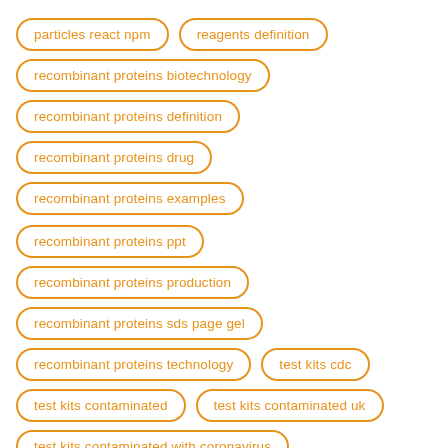particles react npm
reagents definition
recombinant proteins biotechnology
recombinant proteins definition
recombinant proteins drug
recombinant proteins examples
recombinant proteins ppt
recombinant proteins production
recombinant proteins sds page gel
recombinant proteins technology
test kits cdc
test kits contaminated
test kits contaminated uk
test kits contaminated with coronavirus
test kits contaminated with covid-19